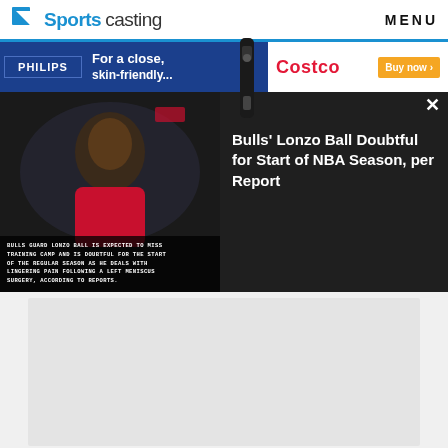Sportscasting | MENU
[Figure (screenshot): Philips advertisement banner with razor and Costco buy now button]
[Figure (photo): Bulls player Lonzo Ball looking up, with text overlay about missing training camp due to left meniscus surgery]
Bulls’ Lonzo Ball Doubtful for Start of NBA Season, per Report
BULLS GUARD LONZO BALL IS EXPECTED TO MISS TRAINING CAMP AND IS DOUBTFUL FOR THE START OF THE REGULAR SEASON AS HE DEALS WITH LINGERING PAIN FOLLOWING A LEFT MENISCUS SURGERY, ACCORDING TO REPORTS.
[Figure (screenshot): Gray placeholder content area]